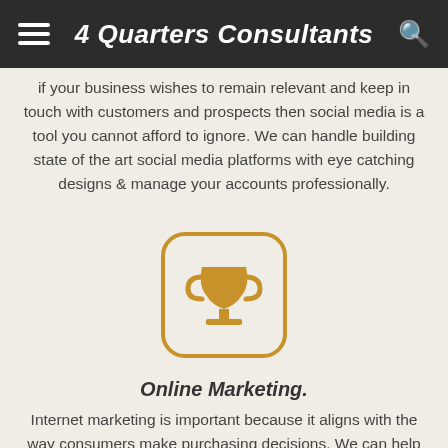4 Quarters Consultants
If your business wishes to remain relevant and keep in touch with customers and prospects then social media is a tool you cannot afford to ignore. We can handle building state of the art social media platforms with eye catching designs & manage your accounts professionally.
[Figure (illustration): A gold trophy cup icon inside a rounded square outlined box with golden border on a light beige background.]
Online Marketing.
Internet marketing is important because it aligns with the way consumers make purchasing decisions. We can help you reach out to your potential customers with targeted ads and share your latest products and services with very competitive pricing.